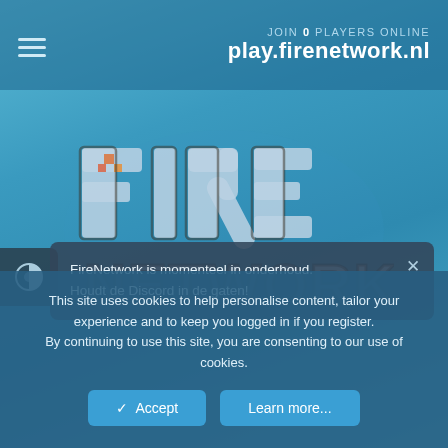JOIN 0 PLAYERS ONLINE
play.firenetwork.nl
[Figure (logo): FireNetwork game server logo with stylized fire-themed block letters spelling FIRE NETWORK on a blurred blue background]
FireNetwork is momenteel in onderhoud. Houdt de Discord in de gaten!
This site uses cookies to help personalise content, tailor your experience and to keep you logged in if you register. By continuing to use this site, you are consenting to our use of cookies.